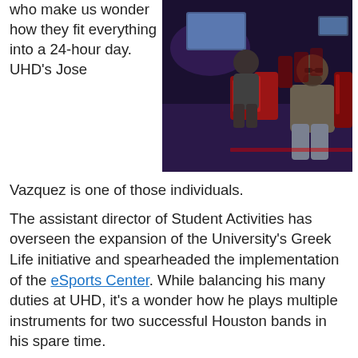who make us wonder how they fit everything into a 24-hour day. UHD's Jose Vazquez is one of those individuals.
[Figure (photo): Photo of Jose Vazquez sitting in an eSports gaming center with gaming chairs and monitors glowing with blue/purple light, another person playing a game in the background.]
The assistant director of Student Activities has overseen the expansion of the University's Greek Life initiative and spearheaded the implementation of the eSports Center. While balancing his many duties at UHD, it's a wonder how he plays multiple instruments for two successful Houston bands in his spare time.
Vazquez, who is a 2012 alum of University of Houston's (UH) prestigious Moores School of Music has always been musically inclined...